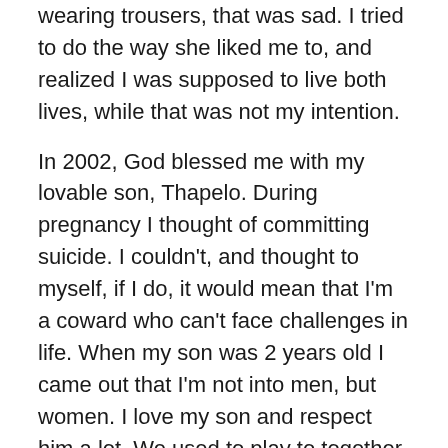wearing trousers, that was sad. I tried to do the way she liked me to, and realized I was supposed to live both lives, while that was not my intention.
In 2002, God blessed me with my lovable son, Thapelo. During pregnancy I thought of committing suicide. I couldn't, and thought to myself, if I do, it would mean that I'm a coward who can't face challenges in life. When my son was 2 years old I came out that I'm not into men, but women. I love my son and respect him a lot. We used to play to together, and I'm proudly lesbian, and love it when my son calls me mum.
As time went by I became sick, doctors couldn't find a diagnosis. I visited traditional healers who said I have a calling. Although I had some visions, I wasn't so sure about it. My mother understands all that, so I started the process of traditional healing. I have not completed the